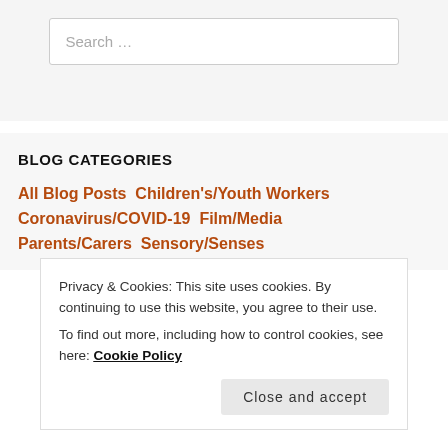Search …
BLOG CATEGORIES
All Blog Posts  Children's/Youth Workers  Coronavirus/COVID-19  Film/Media  Parents/Carers  Sensory/Senses
Privacy & Cookies: This site uses cookies. By continuing to use this website, you agree to their use.
To find out more, including how to control cookies, see here: Cookie Policy
Close and accept